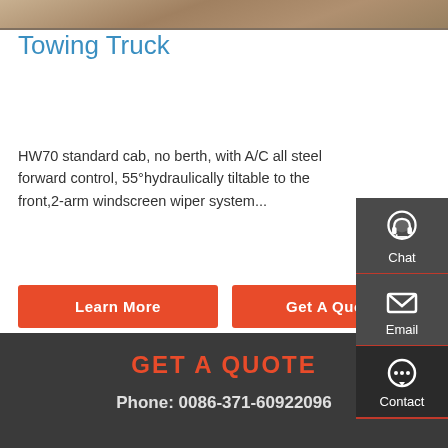[Figure (photo): Partial view of a towing truck, brownish/tan colored surface visible at top of page]
Towing Truck
HW70 standard cab, no berth, with A/C all steel forward control, 55°hydraulically tiltable to the front,2-arm windscreen wiper system...
Learn More
Get A Quote
GET A QUOTE
Phone: 0086-371-60922096